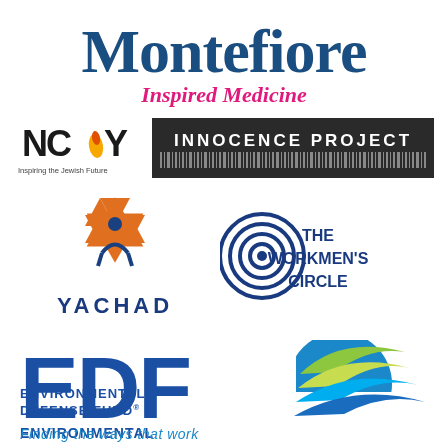[Figure (logo): Montefiore Inspired Medicine logo — 'Montefiore' in large dark navy/teal serif font, 'Inspired Medicine' in magenta/pink below]
[Figure (logo): NCSY logo — stylized letters with flame, tagline 'Inspiring the Jewish Future']
[Figure (logo): Innocence Project logo — white text on dark background with barcode-like graphic]
[Figure (logo): Yachad logo — Star of David in orange with blue figure inside, text 'YACHAD' below in navy]
[Figure (logo): The Workmen's Circle logo — concentric circles target/eye graphic with text 'THE WORKMEN'S CIRCLE' in navy]
[Figure (logo): EDF Environmental Defense Fund logo — large blue letters 'EDF' with colorful swoosh/leaf graphic, tagline 'Finding the ways that work']